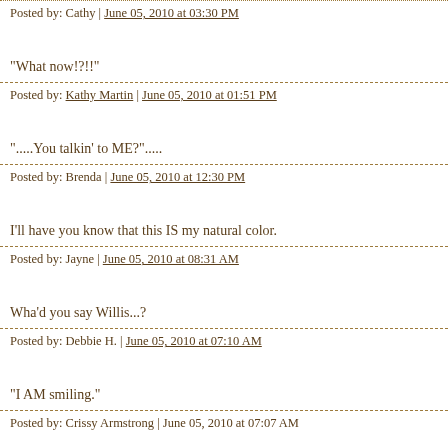Posted by: Cathy | June 05, 2010 at 03:30 PM
"What now!?!!"
Posted by: Kathy Martin | June 05, 2010 at 01:51 PM
".....You talkin' to ME?"......
Posted by: Brenda | June 05, 2010 at 12:30 PM
I'll have you know that this IS my natural color.
Posted by: Jayne | June 05, 2010 at 08:31 AM
Wha'd you say Willis...?
Posted by: Debbie H. | June 05, 2010 at 07:10 AM
"I AM smiling."
Posted by: Crissy Armstrong | June 05, 2010 at 07:07 AM